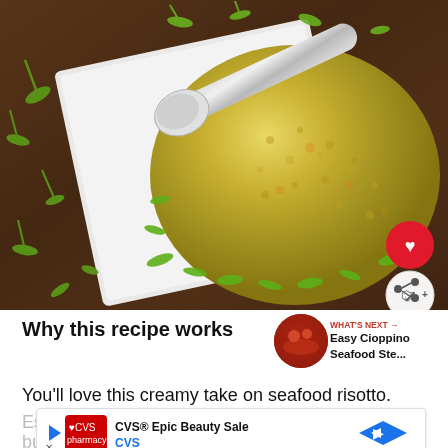[Figure (photo): A dome-shaped mound of creamy seafood risotto plated on a white square plate, garnished with fresh green herb sprigs/microgreens, and a silver spoon resting on top. Dark wood background.]
Why this recipe works
[Figure (photo): Small circular thumbnail of Easy Cioppino Seafood Stew with red tomato broth]
You'll love this creamy take on seafood risotto.
[Figure (other): Advertisement banner: CVS Epic Beauty Sale advertisement with CVS pharmacy logo, navigation arrow button, and close button]